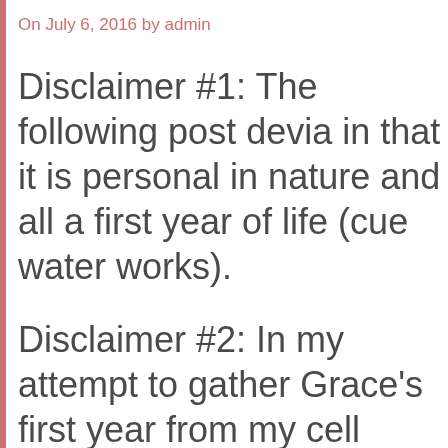On July 6, 2016 by admin
Disclaimer #1: The following post devia in that it is personal in nature and all a first year of life (cue water works).
Disclaimer #2: In my attempt to gather Grace’s first year from my cell phone, shoot, the albums and albums of photo to post (let alone sort through in the m photographers’ works, the list goes ON photos and probably only something l